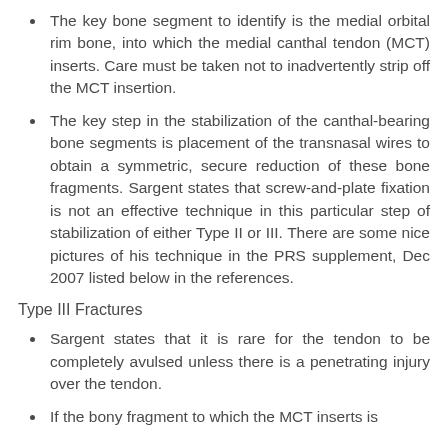The key bone segment to identify is the medial orbital rim bone, into which the medial canthal tendon (MCT) inserts. Care must be taken not to inadvertently strip off the MCT insertion.
The key step in the stabilization of the canthal-bearing bone segments is placement of the transnasal wires to obtain a symmetric, secure reduction of these bone fragments. Sargent states that screw-and-plate fixation is not an effective technique in this particular step of stabilization of either Type II or III. There are some nice pictures of his technique in the PRS supplement, Dec 2007 listed below in the references.
Type III Fractures
Sargent states that it is rare for the tendon to be completely avulsed unless there is a penetrating injury over the tendon.
If the bony fragment to which the MCT inserts is